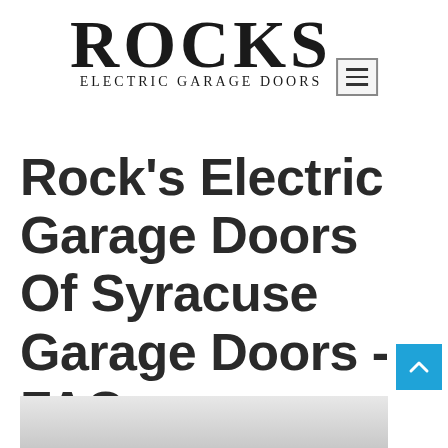[Figure (logo): Rocks Electric Garage Doors logo with large serif text 'ROCKS' and subtitle 'Electric Garage Doors', accompanied by a hamburger menu icon]
Rock's Electric Garage Doors Of Syracuse Garage Doors - FAQ
[Figure (photo): Partial photo of a garage door at the bottom of the page]